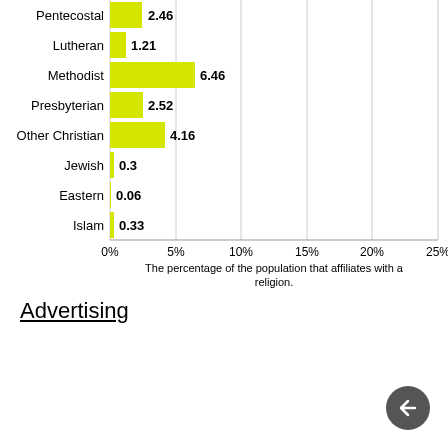[Figure (bar-chart): ]
Advertising